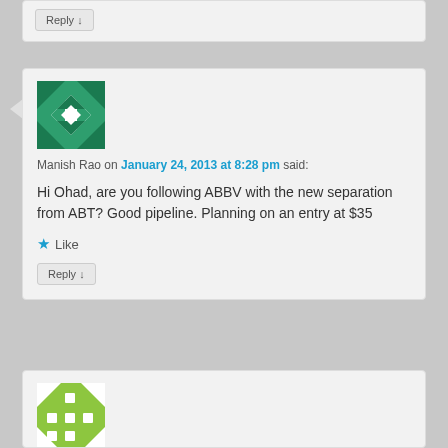Reply ↓
[Figure (illustration): Green geometric avatar with diamond and triangle pattern for user Manish Rao]
Manish Rao on January 24, 2013 at 8:28 pm said:
Hi Ohad, are you following ABBV with the new separation from ABT? Good pipeline. Planning on an entry at $35
Like
Reply ↓
[Figure (illustration): Green and white geometric avatar with dice-like pattern]